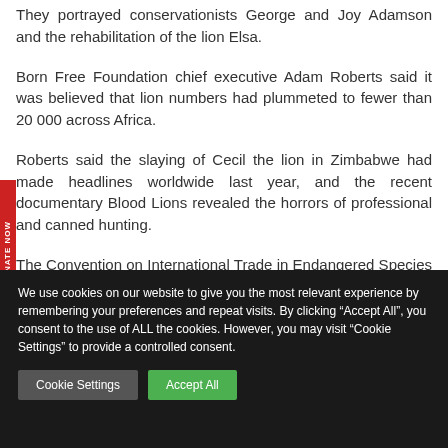They portrayed conservationists George and Joy Adamson and the rehabilitation of the lion Elsa.
Born Free Foundation chief executive Adam Roberts said it was believed that lion numbers had plummeted to fewer than 20 000 across Africa.
Roberts said the slaying of Cecil the lion in Zimbabwe had made headlines worldwide last year, and the recent documentary Blood Lions revealed the horrors of professional and canned hunting.
The Convention on International Trade in Endangered Species of Wild
We use cookies on our website to give you the most relevant experience by remembering your preferences and repeat visits. By clicking "Accept All", you consent to the use of ALL the cookies. However, you may visit "Cookie Settings" to provide a controlled consent.